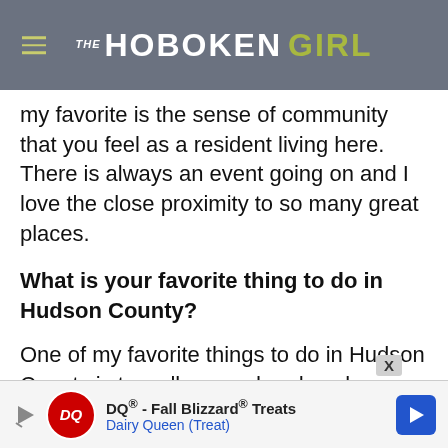THE HOBOKEN GIRL
my favorite is the sense of community that you feel as a resident living here. There is always an event going on and I love the close proximity to so many great places.
What is your favorite thing to do in Hudson County?
One of my favorite things to do in Hudson County is to walk around and explore new areas, restaurants, boutiques and businesses that are opening up. Just in
[Figure (other): Advertisement banner: DQ - Fall Blizzard Treats, Dairy Queen (Treat)]